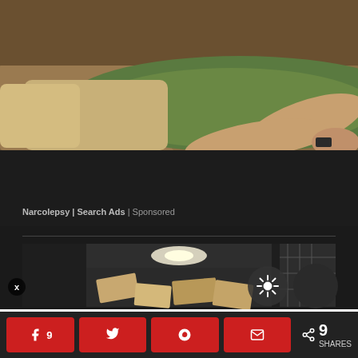[Figure (photo): Man with beard sleeping/passed out on a couch, wearing olive green t-shirt and khaki pants, lying on his side with arms folded]
Narcolepsy | Search Ads | Sponsored
[Figure (photo): Car trunk open showing interior with items inside, with brightness and dark overlay circles visible]
AI Advertising
9 SHARES with social share buttons for Facebook (9), Twitter, Reddit, and Email